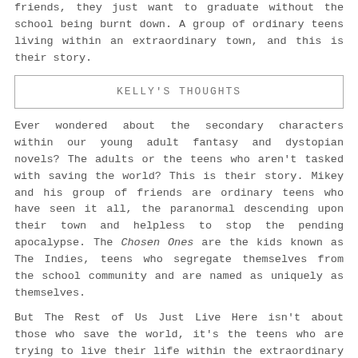friends, they just want to graduate without the school being burnt down. A group of ordinary teens living within an extraordinary town, and this is their story.
KELLY'S THOUGHTS
Ever wondered about the secondary characters within our young adult fantasy and dystopian novels? The adults or the teens who aren't tasked with saving the world? This is their story. Mikey and his group of friends are ordinary teens who have seen it all, the paranormal descending upon their town and helpless to stop the pending apocalypse. The Chosen Ones are the kids known as The Indies, teens who segregate themselves from the school community and are named as uniquely as themselves.
But The Rest of Us Just Live Here isn't about those who save the world, it's the teens who are trying to live their life within the extraordinary town. Real teens that struggle with issues such as obsessive compulsive disorder, anorexia, workaholic and alcoholic parents, and having a new kid suddenly arrive within only six weeks left until graduation. The concept is completely bizarre and the storyline allows readers glimpses of the pending doom that is set to strike their town. But life goes on for the Others, those who are usually restricted to